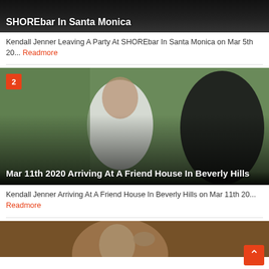[Figure (photo): Partial top of a thumbnail image with dark background showing text overlay about SHOREbar in Santa Monica]
Kendall Jenner Leaving A Party At SHOREbar In Santa Monica on Mar 5th 20... Readmore
[Figure (photo): Blurred photo of a person in white t-shirt from behind, with number badge 2 in orange, and text overlay: Mar 11th 2020 Arriving At A Friend House In Beverly Hills]
Kendall Jenner Arriving At A Friend House In Beverly Hills on Mar 11th 20... Readmore
[Figure (photo): Partial bottom thumbnail showing a close-up face photo with warm tones]